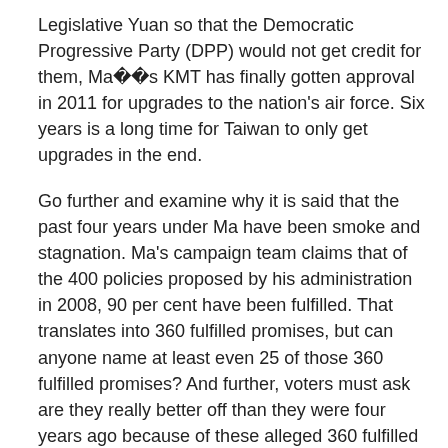Legislative Yuan so that the Democratic Progressive Party (DPP) would not get credit for them, Maï¿½s KMT has finally gotten approval in 2011 for upgrades to the nation's air force. Six years is a long time for Taiwan to only get upgrades in the end.
Go further and examine why it is said that the past four years under Ma have been smoke and stagnation. Ma's campaign team claims that of the 400 policies proposed by his administration in 2008, 90 per cent have been fulfilled. That translates into 360 fulfilled promises, but can anyone name at least even 25 of those 360 fulfilled promises? And further, voters must ask are they really better off than they were four years ago because of these alleged 360 fulfilled promises? Is housing more affordable? Are jobs more plentiful? Have jobs stayed in Taiwan instead of going overseas to China? Has the average person's yearly income increased or is it at a lower level than that of four years ago? Has ECFA made a difference for anyone but a few rich? Is the wealth gap widening instead of...